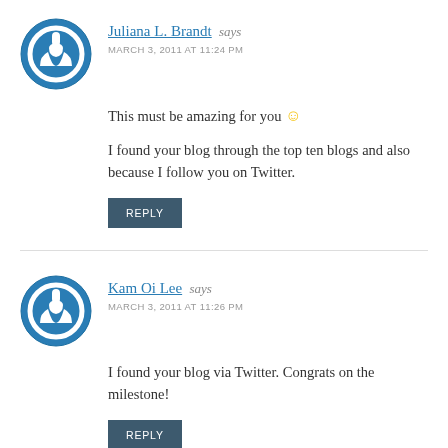Juliana L. Brandt says
MARCH 3, 2011 AT 11:24 PM
This must be amazing for you 🙂
I found your blog through the top ten blogs and also because I follow you on Twitter.
REPLY
Kam Oi Lee says
MARCH 3, 2011 AT 11:26 PM
I found your blog via Twitter. Congrats on the milestone!
REPLY